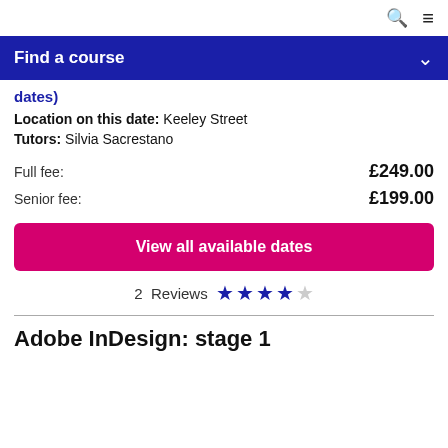🔍 ☰
Find a course
dates)
Location on this date: Keeley Street
Tutors: Silvia Sacrestano
Full fee: £249.00
Senior fee: £199.00
View all available dates
2 Reviews ★★★★☆
Adobe InDesign: stage 1